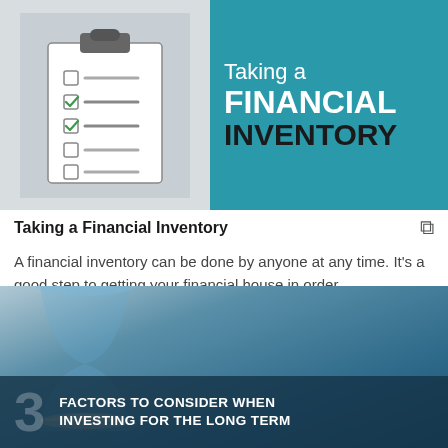[Figure (infographic): Two-panel banner image: left panel shows a clipboard illustration with checkboxes (two checked with green checkmarks, two unchecked) against a grey office background. Right teal panel displays the text 'Taking a FINANCIAL INVENTORY'.]
Taking a Financial Inventory
A financial inventory can be done by anyone at any time. It's a good step to getting your financial house in order.
[Figure (infographic): Banner image with hourglass photo background and dark blue overlay at the bottom displaying '3 FACTORS TO CONSIDER WHEN INVESTING FOR THE LONG TERM'.]